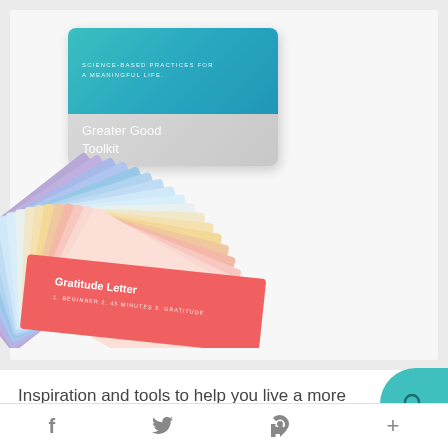[Figure (photo): Product photo of the Greater Good Toolkit box with teal top half reading 'SCIENCE-BASED PRACTICES FOR A MEANINGFUL LIFE.' and grey bottom half reading 'Greater Good Toolkit', plus a fan of colorful cards fanned out below including a pink/coral card labeled 'Gratitude Letter']
Inspiration and tools to help you live a more
f  t  p  +